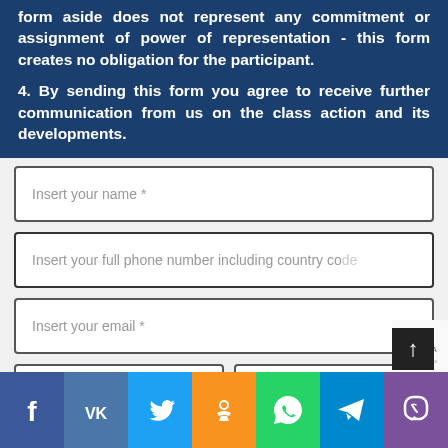form aside does not represent any commitment or assignment of power of representation - this form creates no obligation for the participant.
4. By sending this form you agree to receive further communication from us on the class action and its developments.
Insert your name *
Insert your full phone number including country code
Insert your email *